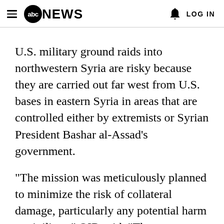ABC NEWS  LOG IN
U.S. military ground raids into northwestern Syria are risky because they are carried out far west from U.S. bases in eastern Syria in areas that are controlled either by extremists or Syrian President Bashar al-Assad's government.
"The mission was meticulously planned to minimize the risk of collateral damage, particularly any potential harm to civilians," OIR said. "There were no civilians harmed